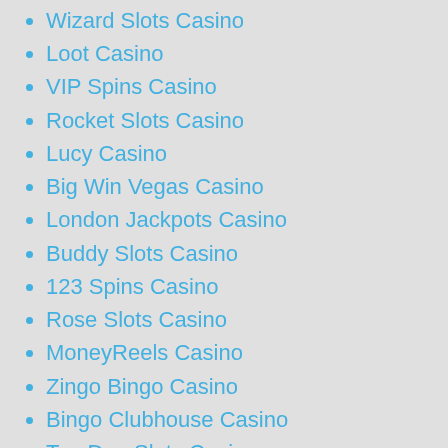Wizard Slots Casino
Loot Casino
VIP Spins Casino
Rocket Slots Casino
Lucy Casino
Big Win Vegas Casino
London Jackpots Casino
Buddy Slots Casino
123 Spins Casino
Rose Slots Casino
MoneyReels Casino
Zingo Bingo Casino
Bingo Clubhouse Casino
Top Dog Slots Casino
Slot Shack Casino
PROS
Features